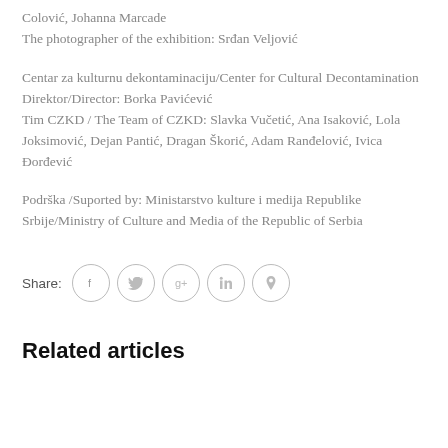Colović, Johanna Marcade
The photographer of the exhibition: Srđan Veljović
Centar za kulturnu dekontaminaciju/Center for Cultural Decontamination
Direktor/Director: Borka Pavićević
Tim CZKD / The Team of CZKD: Slavka Vučetić, Ana Isaković, Lola Joksimović, Dejan Pantić, Dragan Škorić, Adam Ranđelović, Ivica Đorđević
Podrška /Suported by: Ministarstvo kulture i medija Republike Srbije/Ministry of Culture and Media of the Republic of Serbia
Share:
Related articles